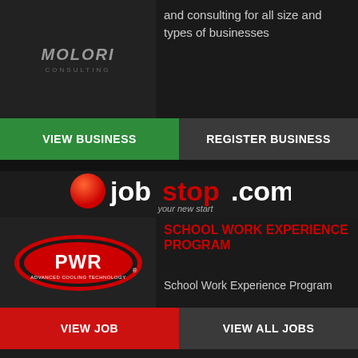[Figure (logo): Molori Consulting logo on dark background]
and consulting for all size and types of businesses
VIEW BUSINESS
REGISTER BUSINESS
[Figure (logo): jobstop.com your new start logo with red dot]
[Figure (logo): PWR Advanced Cooling Technology logo]
SCHOOL WORK EXPERIENCE PROGRAM
School Work Experience Program
VIEW JOB
VIEW ALL JOBS